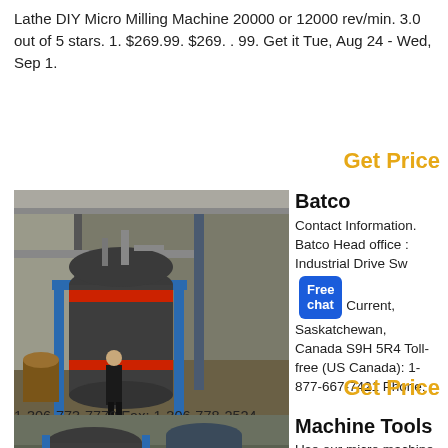Lathe DIY Micro Milling Machine 20000 or 12000 rev/min. 3.0 out of 5 stars. 1. $269.99. $269. . 99. Get it Tue, Aug 24 - Wed, Sep 1.
Get Price
[Figure (photo): Industrial setting showing a large cylindrical machine (possibly a grain dryer or industrial vessel) on a blue metal frame, with a person standing beside it in a dark jacket.]
Batco
Contact Information. Batco Head office : Industrial Drive Sw Current, Saskatchewan, Canada S9H 5R4 Toll-free (US Canada): 1-877-667-7421 Phone: 1-306-773-7779 Fax: 1-306-778-2524
Get Price
[Figure (photo): Partial view of industrial machines similar to cylindrical vessels with red accents, in a similar industrial outdoor setting.]
Machine Tools
Use our micro machine tools for precision...